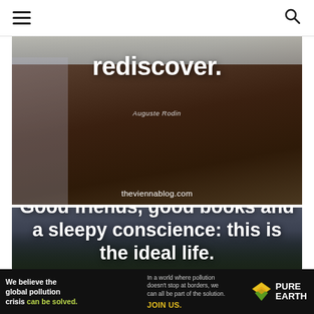☰  🔍 (navigation bar with hamburger menu and search icon)
[Figure (photo): Dark rocky mountain landscape with snow, overlaid with the word 'rediscover.' in bold white text and attribution 'Auguste Rodin' and URL 'theviennablog.com']
[Figure (photo): Dark moody forest/mountain landscape overlaid with bold white text: 'Good friends, good books and a sleepy conscience: this is the ideal life' (partially visible)]
We believe the global pollution crisis can be solved. In a world where pollution doesn't stop at borders, we can all be part of the solution. JOIN US. PURE EARTH